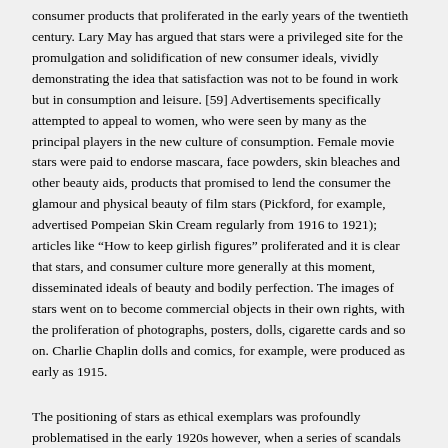consumer products that proliferated in the early years of the twentieth century. Lary May has argued that stars were a privileged site for the promulgation and solidification of new consumer ideals, vividly demonstrating the idea that satisfaction was not to be found in work but in consumption and leisure. [59]  Advertisements specifically attempted to appeal to women, who were seen by many as the principal players in the new culture of consumption. Female movie stars were paid to endorse mascara, face powders, skin bleaches and other beauty aids, products that promised to lend the consumer the glamour and physical beauty of film stars (Pickford, for example, advertised Pompeian Skin Cream regularly from 1916 to 1921); articles like “How to keep girlish figures” proliferated and it is clear that stars, and consumer culture more generally at this moment, disseminated ideals of beauty and bodily perfection. The images of stars went on to become commercial objects in their own rights, with the proliferation of photographs, posters, dolls, cigarette cards and so on. Charlie Chaplin dolls and comics, for example, were produced as early as 1915.
The positioning of stars as ethical exemplars was profoundly problematised in the early 1920s however, when a series of scandals involving stars suggested to many the immorality and debauchery of both stars and Hollywood more generally and